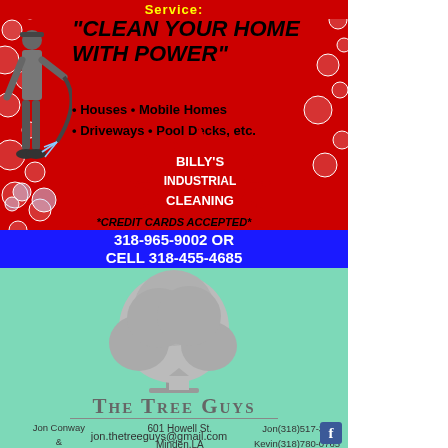"CLEAN YOUR HOME WITH POWER"
• Houses • Mobile Homes
• Driveways • Pool Decks, etc.
BILLY'S INDUSTRIAL CLEANING
*CREDIT CARDS ACCEPTED*
318-965-9002 OR CELL 318-455-4685
[Figure (logo): The Tree Guys logo with grey tree illustration]
THE TREE GUYS
Jon Conway & Kevin Crawford
Licensed & Insured
Locally Owned & Operated
601 Howell St.
Minden,LA
71055
Jon(318)517-3069
Kevin(318)780-0765
jon.thetreeguys@gmail.com